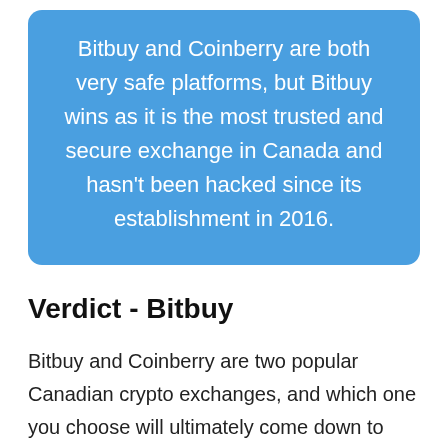Bitbuy and Coinberry are both very safe platforms, but Bitbuy wins as it is the most trusted and secure exchange in Canada and hasn't been hacked since its establishment in 2016.
Verdict - Bitbuy
Bitbuy and Coinberry are two popular Canadian crypto exchanges, and which one you choose will ultimately come down to what you need as a user. In my opinion, Bitbuy is more suitable for the majority of Canadians because it caters to both beginners and more advanced